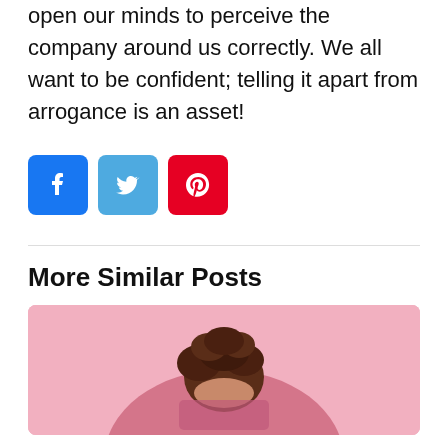open our minds to perceive the company around us correctly. We all want to be confident; telling it apart from arrogance is an asset!
[Figure (other): Social share buttons: Facebook (blue), Twitter (light blue), Pinterest (red)]
More Similar Posts
[Figure (photo): Photo of a person with curly dark hair on a pink background, viewed from above/behind]